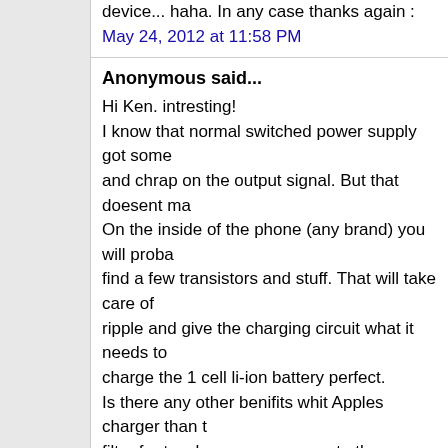device... haha. In any case thanks again :
May 24, 2012 at 11:58 PM
Anonymous said...
Hi Ken. intresting!
I know that normal switched power supply got some and chrap on the output signal. But that doesent ma On the inside of the phone (any brand) you will prob find a few transistors and stuff. That will take care of ripple and give the charging circuit what it needs to charge the 1 cell li-ion battery perfect.
Is there any other benifits whit Apples charger than t filter for touch screen compare to the Samsung powe supply you dismantled?
Thanks!
Joe
May 25, 2012 at 10:32 AM
Anonymous said...
it goes without saying that all of Apple's chargers are